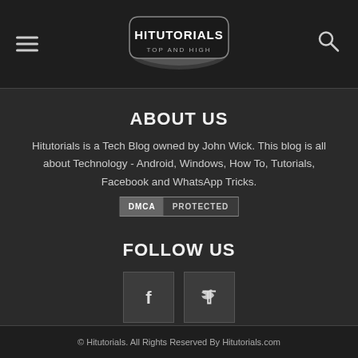HITUTORIALS TOP AND HIGH — navigation header with hamburger menu, logo, and search icon
ABOUT US
Hitutorials is a Tech Blog owned by John Wick. This blog is all about Technology - Android, Windows, How To, Tutorials, Facebook and WhatsApp Tricks.
[Figure (other): DMCA PROTECTED badge]
FOLLOW US
[Figure (other): Facebook and Twitter social media icon buttons]
© Hitutorials. All Rights Reserved By Hitutorials.com